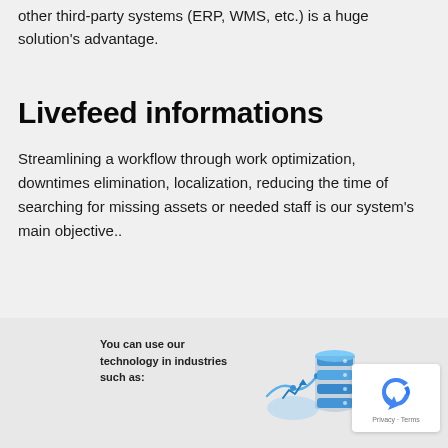other third-party systems (ERP, WMS, etc.) is a huge solution's advantage.
Livefeed informations
Streamlining a workflow through work optimization, downtimes elimination, localization, reducing the time of searching for missing assets or needed staff is our system's main objective..
You can use our technology in industries such as:
[Figure (illustration): Isometric illustration of database/server stacks with a chart/analytics element in blue tones]
[Figure (logo): reCAPTCHA widget with circular arrow logo and Privacy - Terms text]